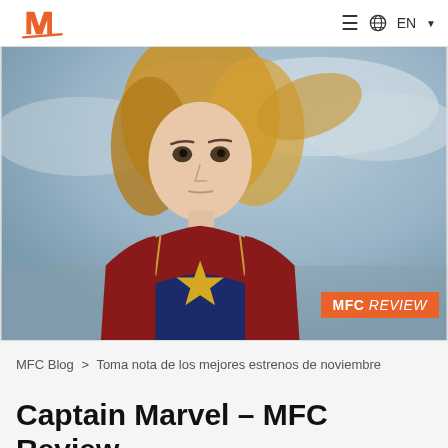MFC logo, hamburger menu, globe EN dropdown
[Figure (photo): Captain Marvel movie poster showing a woman in red and blue superhero suit with flowing blonde hair against a cloudy sky background, with an orange MFC REVIEW badge in the lower right corner]
MFC Blog > Toma nota de los mejores estrenos de noviembre
Captain Marvel – MFC Review